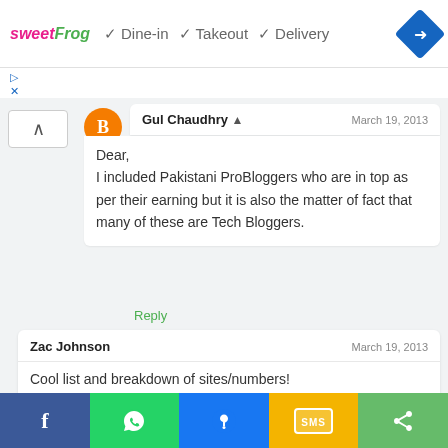[Figure (screenshot): Ad banner: sweetFrog logo, checkmarks for Dine-in, Takeout, Delivery, and a blue diamond arrow icon]
[Figure (screenshot): Blogger avatar icon (orange circle with B) for user Gul Chaudhry]
Gul Chaudhry ▲ March 19, 2013
Dear,
I included Pakistani ProBloggers who are in top as per their earning but it is also the matter of fact that many of these are Tech Bloggers.
Reply
Zac Johnson  March 19, 2013
Cool list and breakdown of sites/numbers!
Reply
[Figure (screenshot): Bottom social share bar with Facebook, WhatsApp, Messenger, SMS, and share icons]